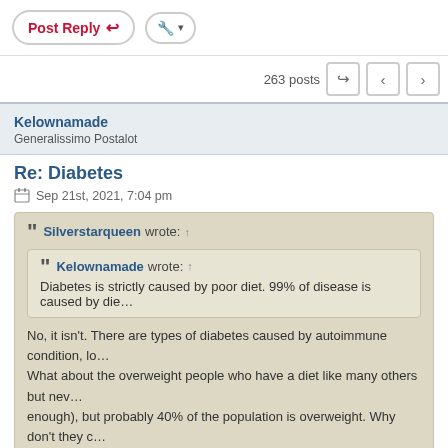Post Reply | Tools dropdown | 263 posts navigation
Kelownamade
Generalissimo Postalot
Re: Diabetes
Sep 21st, 2021, 7:04 pm
Silverstarqueen wrote: ↑
Kelownamade wrote: ↑
Diabetes is strictly caused by poor diet. 99% of disease is caused by die...
No, it isn't. There are types of diabetes caused by autoimmune condition, lo... What about the overweight people who have a diet like many others but nev... enough), but probably 40% of the population is overweight. Why don't they c... Diabetes? Type 2 diabetes can also have an autoimmune component to it.
Who said poor diet and a toxic lifestyle would cause the identical result in all...